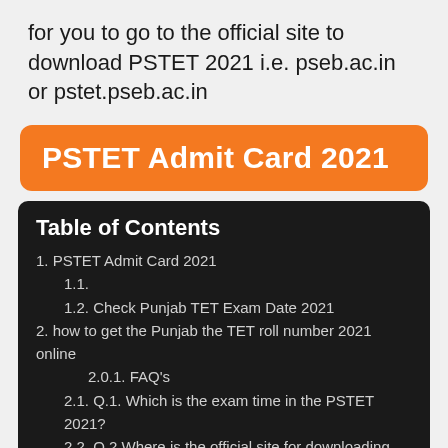for you to go to the official site to download PSTET 2021 i.e. pseb.ac.in or pstet.pseb.ac.in
PSTET Admit Card 2021
Table of Contents
1. PSTET Admit Card 2021
1.1.
1.2. Check Punjab TET Exam Date 2021
2. how to get the Punjab the TET roll number 2021 online
2.0.1. FAQ's
2.1. Q.1. Which is the exam time in the PSTET 2021?
2.2. Q.2 Where is the official site for downloading the PSTET 2021 Admit Card?